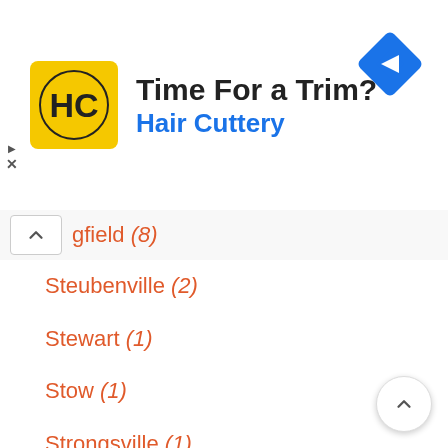[Figure (other): Hair Cuttery advertisement banner with yellow HC logo, headline 'Time For a Trim?', and blue navigation icon]
…gfield (8)
Steubenville (2)
Stewart (1)
Stow (1)
Strongsville (1)
Stryker (1)
Sunbury (1)
Sylvania (1)
Tallmadge (3)